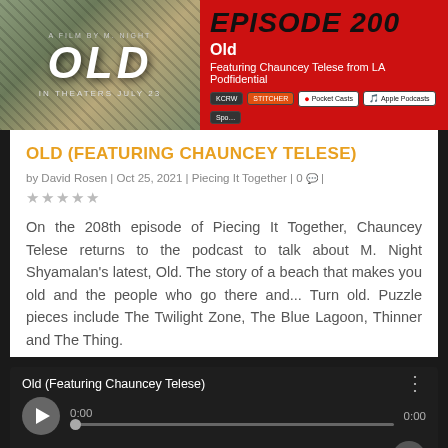[Figure (screenshot): Top banner with two images: left shows movie poster for 'OLD' with puzzle piece background, right shows red podcast episode card reading 'EPISODE 200 - Old - Featuring Chauncey Telese from LA Podfidential' with podcast app badges]
OLD (FEATURING CHAUNCEY TELESE)
by David Rosen | Oct 25, 2021 | Piecing It Together | 0 💬 | ☆☆☆☆☆
On the 208th episode of Piecing It Together, Chauncey Telese returns to the podcast to talk about M. Night Shyamalan's latest, Old. The story of a beach that makes you old and the people who go there and... Turn old. Puzzle pieces include The Twilight Zone, The Blue Lagoon, Thinner and The Thing.
[Figure (screenshot): Audio player widget with dark background showing 'Old (Featuring Chauncey Telese)' title, play button, progress bar at 0:00, and volume control]